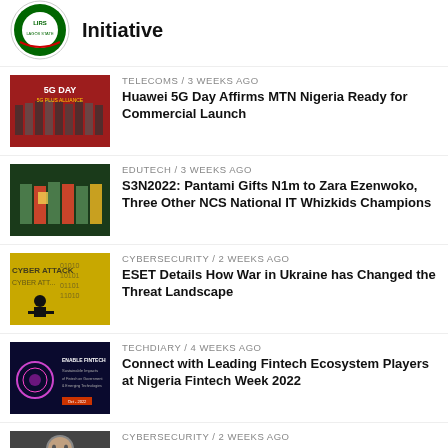[Figure (logo): LIRS Lagos State circular logo]
Initiative
TELECOMS / 3 weeks ago
[Figure (photo): Group photo at 5G Day event with banner in background]
Huawei 5G Day Affirms MTN Nigeria Ready for Commercial Launch
EDUTECH / 3 weeks ago
[Figure (photo): People at an event, Pantami gifting award]
S3N2022: Pantami Gifts N1m to Zara Ezenwoko, Three Other NCS National IT Whizkids Champions
CYBERSECURITY / 2 weeks ago
[Figure (photo): Yellow cyber attack graphic with text CYBER ATTACK]
ESET Details How War in Ukraine has Changed the Threat Landscape
TECHDIARY / 4 weeks ago
[Figure (photo): Dark banner: Sustainable Impacts of Fintech on Government & Emerging Technologies, Nigeria Fintech Week 2022]
Connect with Leading Fintech Ecosystem Players at Nigeria Fintech Week 2022
CYBERSECURITY / 2 weeks ago
[Figure (photo): Portrait photo of a person, partially visible]
Cyber Criminals Eye South African SME